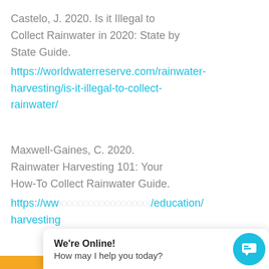Castelo, J. 2020. Is it Illegal to Collect Rainwater in 2020: State by State Guide. https://worldwaterreserve.com/rainwater-harvesting/is-it-illegal-to-collect-rainwater/
Maxwell-Gaines, C. 2020. Rainwater Harvesting 101: Your How-To Collect Rainwater Guide. https://ww...education/harvesting...